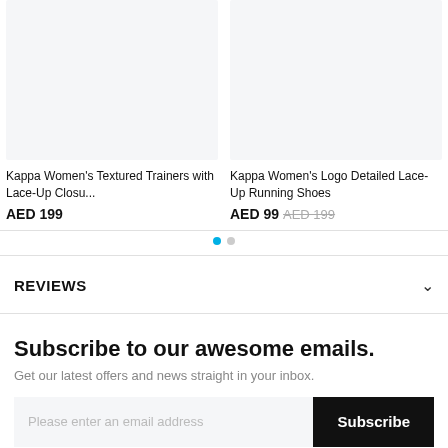[Figure (photo): Product image placeholder for Kappa Women's Textured Trainers (light gray background, no product shown)]
Kappa Women's Textured Trainers with Lace-Up Closu...
AED 199
[Figure (photo): Product image placeholder for Kappa Women's Logo Detailed Lace-Up Running Shoes (light gray background, no product shown)]
Kappa Women's Logo Detailed Lace-Up Running Shoes
AED 99 AED 199
REVIEWS
Subscribe to our awesome emails.
Get our latest offers and news straight in your inbox.